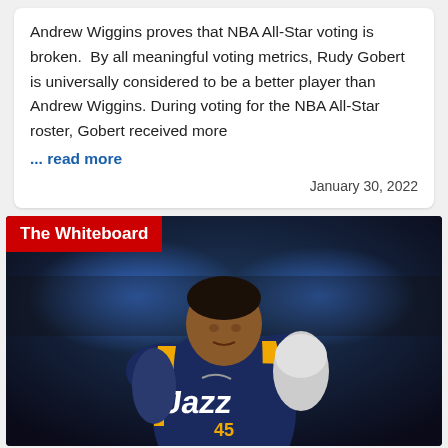Andrew Wiggins proves that NBA All-Star voting is broken.  By all meaningful voting metrics, Rudy Gobert is universally considered to be a better player than Andrew Wiggins. During voting for the NBA All-Star roster, Gobert received more
... read more
January 30, 2022
[Figure (photo): Photo of a Utah Jazz basketball player wearing navy blue and yellow Jazz jersey with number 45, with a red 'The Whiteboard' banner overlay in the top left corner. Arena background with blue lights visible.]